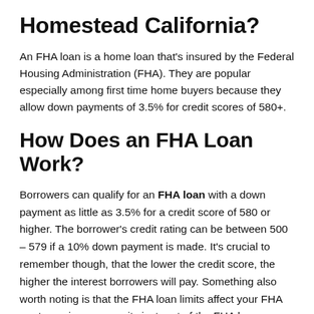Homestead California?
An FHA loan is a home loan that's insured by the Federal Housing Administration (FHA). They are popular especially among first time home buyers because they allow down payments of 3.5% for credit scores of 580+.
How Does an FHA Loan Work?
Borrowers can qualify for an FHA loan with a down payment as little as 3.5% for a credit score of 580 or higher. The borrower's credit rating can be between 500 – 579 if a 10% down payment is made. It's crucial to remember though, that the lower the credit score, the higher the interest borrowers will pay. Something also worth noting is that the FHA loan limits affect your FHA mortgage insurance – its just part of the FHA loan